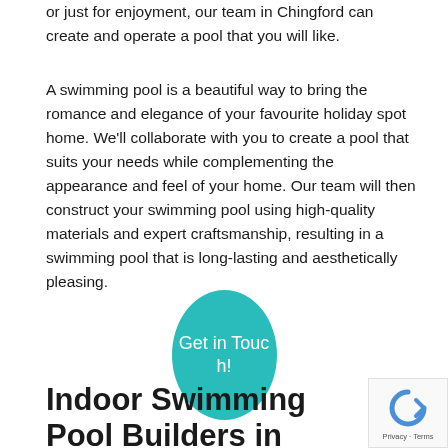or just for enjoyment, our team in Chingford can create and operate a pool that you will like.
A swimming pool is a beautiful way to bring the romance and elegance of your favourite holiday spot home. We'll collaborate with you to create a pool that suits your needs while complementing the appearance and feel of your home. Our team will then construct your swimming pool using high-quality materials and expert craftsmanship, resulting in a swimming pool that is long-lasting and aesthetically pleasing.
[Figure (other): Teal oval button with white text 'Get in Touch!']
Indoor Swimming Pool Builders in Chingford